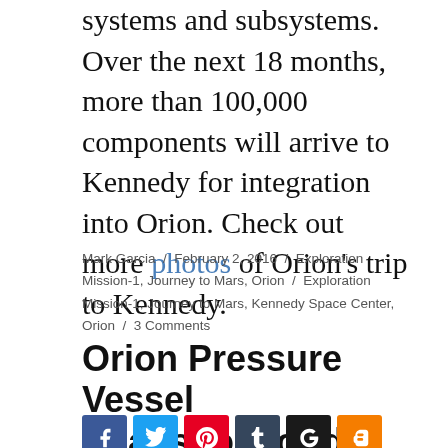begin outfitting it with the spacecraft's other systems and subsystems. Over the next 18 months, more than 100,000 components will arrive to Kennedy for integration into Orion. Check out more photos of Orion's trip to Kennedy.
Mark Garcia / February 2, 2016 / Exploration Mission-1, Journey to Mars, Orion / Exploration Mission-1, Journey to Mars, Kennedy Space Center, Orion / 3 Comments
Orion Pressure Vessel Heads to Florida
[Figure (infographic): Social sharing buttons: Facebook (blue), Twitter (light blue), Pinterest (red), Tumblr (dark blue), Google+ (black), Blogger (orange)]